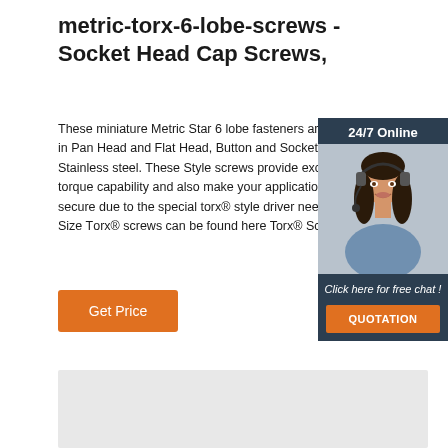metric-torx-6-lobe-screws - Socket Head Cap Screws,
These miniature Metric Star 6 lobe fasteners are available in Pan Head and Flat Head, Button and Socket Head in A2 Stainless steel. These Style screws provide excellent torque capability and also make your application more secure due to the special torx® style driver needed. Inch Size Torx® screws can be found here Torx® Screws.
[Figure (photo): Customer service representative wearing a headset, with a dark blue background overlay showing '24/7 Online' text and 'Click here for free chat!' with a QUOTATION button]
Get Price
[Figure (other): Gray placeholder box at bottom of page]